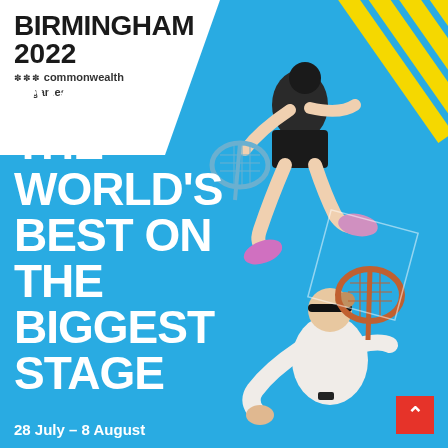[Figure (illustration): Birmingham 2022 Commonwealth Games promotional poster featuring two squash/badminton athletes on a cyan/blue background with yellow diagonal stripes. Top athlete is mid-air in a jumping smash shot wearing black shorts and pink shoes. Bottom athlete is lunging forward with a squash racket wearing a white shirt and headband.]
BIRMINGHAM
2022
commonwealth
games
WATCH THE WORLD'S BEST ON THE BIGGEST STAGE
28 July – 8 August